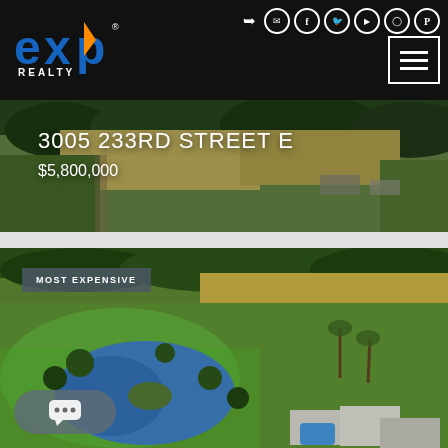eXp Realty header with logo and navigation
[Figure (photo): Aerial view of a large rural property with green fields and trees, showing 3005 233rd Street E]
3005 233RD STREET E
$5,800,000
[Figure (photo): Aerial view of a luxury property featuring a large natural pond, lush green lawns, tropical trees, and a house with pool visible in the lower right corner. Badge reads MOST EXPENSIVE.]